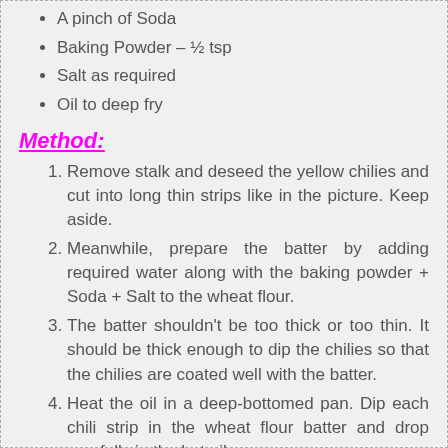A pinch of Soda
Baking Powder – ½ tsp
Salt as required
Oil to deep fry
Method:
Remove stalk and deseed the yellow chilies and cut into long thin strips like in the picture. Keep aside.
Meanwhile, prepare the batter by adding required water along with the baking powder + Soda + Salt to the wheat flour.
The batter shouldn't be too thick or too thin. It should be thick enough to dip the chilies so that the chilies are coated well with the batter.
Heat the oil in a deep-bottomed pan. Dip each chili strip in the wheat flour batter and drop carefully in the hot oil.
Deep-fry till the chili fries turn golden brown and remove from the oil. Repeat the same process with